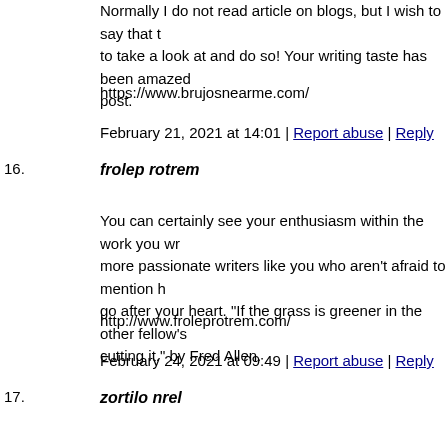Normally I do not read article on blogs, but I wish to say that to take a look at and do so! Your writing taste has been amazed post.
https://www.brujosnearme.com/
February 21, 2021 at 14:01 | Report abuse | Reply
16. frolep rotrem
You can certainly see your enthusiasm within the work you wr more passionate writers like you who aren't afraid to mention h go after your heart. "If the grass is greener in the other fellow's cutting it." by Fred Allen.
http://www.froleprotrem.com/
February 24, 2021 at 09:49 | Report abuse | Reply
17. zortilo nrel
I'm still learning from you, while I'm trying to achieve my goa that is posted on your website.Keep the tips coming. I loved it!
http://www.zortilonrel.com/
February 25, 2021 at 07:17 | Report abuse | Reply